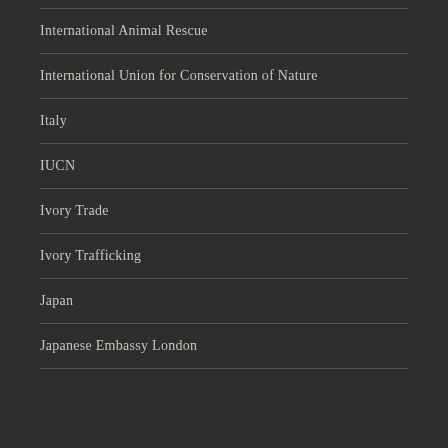International Animal Rescue
International Union for Conservation of Nature
Italy
IUCN
Ivory Trade
Ivory Trafficking
Japan
Japanese Embassy London